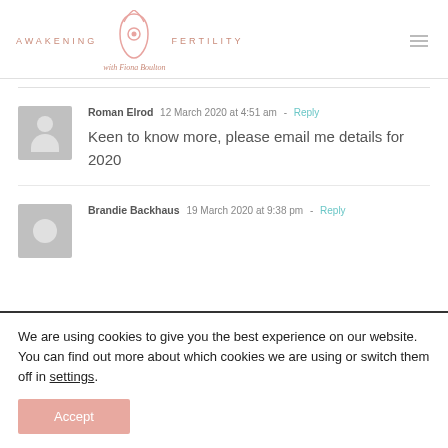AWAKENING FERTILITY with Fiona Boulton
Roman Elrod  12 March 2020 at 4:51 am  - Reply
Keen to know more, please email me details for 2020
Brandie Backhaus  19 March 2020 at 9:38 pm  - Reply
We are using cookies to give you the best experience on our website.
You can find out more about which cookies we are using or switch them off in settings.